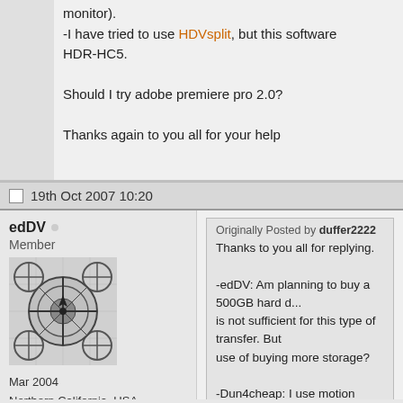monitor).
-I have tried to use HDVsplit, but this software HDR-HC5.

Should I try adobe premiere pro 2.0?

Thanks again to you all for your help
19th Oct 2007 10:20
edDV
Member
[Figure (illustration): Forum avatar showing a compass/crosshair test pattern image in grayscale]
Mar 2004
Northern California, USA
Originally Posted by duffer2222
Thanks to you all for replying.

-edDV: Am planning to buy a 500GB hard d... is not sufficient for this type of transfer. But use of buying more storage?

-Dun4cheap: I use motion picture browser... premiere pro 2.0. Should I try this one?

-Dinu: The difference is that when transferr... see what I shot on monitor) for about 8 sec...